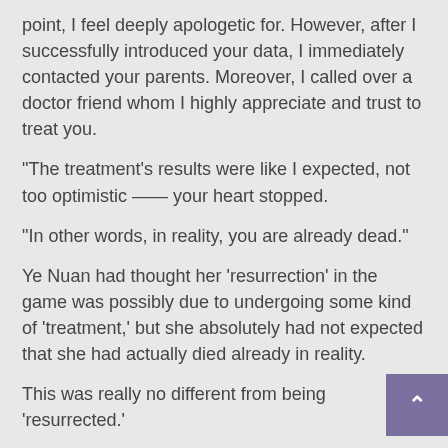point, I feel deeply apologetic for. However, after I successfully introduced your data, I immediately contacted your parents. Moreover, I called over a doctor friend whom I highly appreciate and trust to treat you.
“The treatment’s results were like I expected, not too optimistic —— your heart stopped.
“In other words, in reality, you are already dead.”
Ye Nuan had thought her ‘resurrection’ in the game was possibly due to undergoing some kind of ‘treatment,’ but she absolutely had not expected that she had actually died already in reality.
This was really no different from being ‘resurrected.’
However, possibly because Wen Xiao’s voice was pleasant to hear, or because she subconsciously h anticipated this earlier, Ye Nuan’s mood was